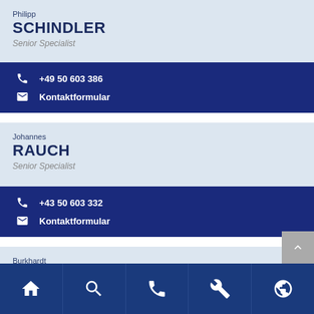Philipp SCHINDLER
Senior Specialist
+49 50 603 386
Kontaktformular
Johannes RAUCH
Senior Specialist
+43 50 603 332
Kontaktformular
Burkhardt HOLLEIS
Manager
[Figure (infographic): Bottom navigation toolbar with 5 icon buttons: home, search, phone, wrench/settings, globe]